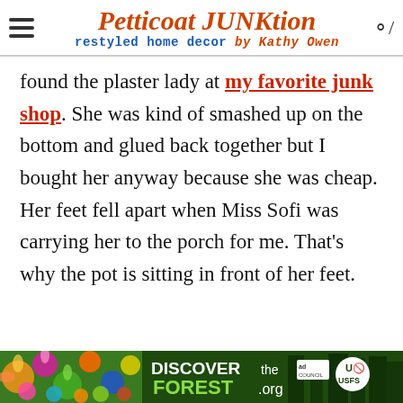Petticoat JUNKtion restyled home decor by Kathy Owen
found the plaster lady at my favorite junk shop. She was kind of smashed up on the bottom and glued back together but I bought her anyway because she was cheap. Her feet fell apart when Miss Sofi was carrying her to the porch for me. That's why the pot is sitting in front of her feet.
[Figure (infographic): Advertisement banner for DiscoverTheForest.org featuring colorful flowers on the left, forest imagery, white text reading DISCOVER the FOREST .org, with Ad Council and US Forest Service logos on the right]